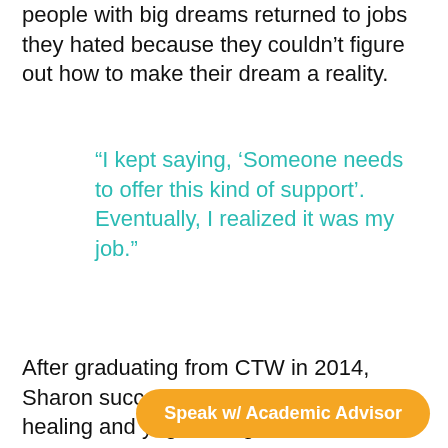people with big dreams returned to jobs they hated because they couldn't figure out how to make their dream a reality.
“I kept saying, ‘Someone needs to offer this kind of support’. Eventually, I realized it was my job.”
After graduating from CTW in 2014, Sharon successfully combined her healing and yoga backgrounds with the tools and techniques of professional coaching. It’s not uncommon for her to use powerful coaching questions, breath work, energy work, and body awareness… all in a
Speak w/ Academic Advisor